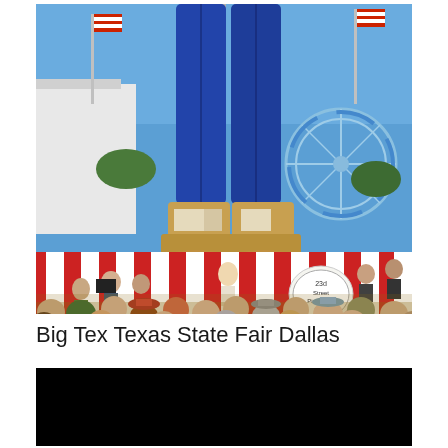[Figure (photo): Outdoor photo of Big Tex at the Texas State Fair in Dallas. A giant cowboy statue wearing blue jeans and tan boots is visible from the knees down. Below, a large crowd gathers around a stage with red and white striped curtains in the background. A Ferris wheel is visible on the right. Flags on poles in the background. A drum for '23rd Street Pipe Band OKC' is visible in the center-right of the crowd area. Musicians and performers are on stage.]
Big Tex Texas State Fair Dallas
[Figure (photo): A mostly black/dark image, appears to be a second photo that is underexposed or very dark.]